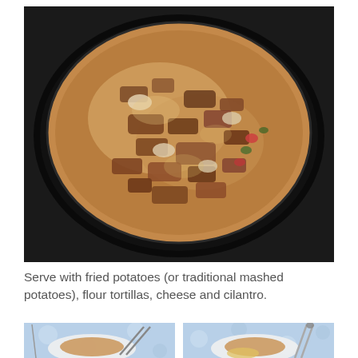[Figure (photo): A large black skillet or wok containing a creamy, saucy meat dish with visible chunks of beef, onions, and colorful vegetables (red and green peppers) in a thick brown gravy sauce.]
Serve with fried potatoes (or traditional mashed potatoes), flour tortillas, cheese and cilantro.
[Figure (photo): Left portion of a bottom photo showing a plate with food on a blue floral tablecloth, with tongs visible.]
[Figure (photo): Right portion of a bottom photo showing another plate with food on a blue floral tablecloth, with tongs visible.]